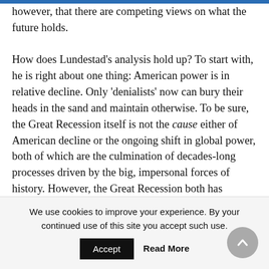however, that there are competing views on what the future holds.

How does Lundestad's analysis hold up? To start with, he is right about one thing: American power is in relative decline. Only 'denialists' now can bury their heads in the sand and maintain otherwise. To be sure, the Great Recession itself is not the cause either of American decline or the ongoing shift in global power, both of which are the culmination of decades-long processes driven by the big, impersonal forces of history. However, the Great Recession both has accelerated the causal forces driving these
We use cookies to improve your experience. By your continued use of this site you accept such use.